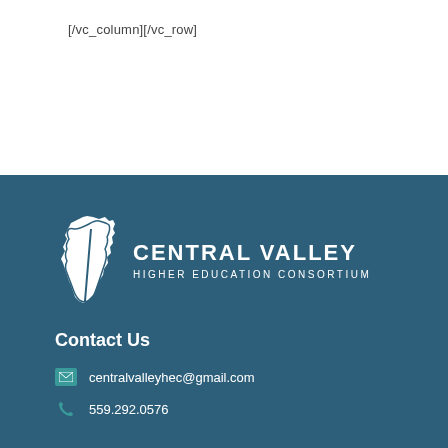[/vc_column][/vc_row]
[Figure (logo): Central Valley Higher Education Consortium logo with California state outline silhouette in white on dark teal background]
Contact Us
centralvalleyhec@gmail.com
559.292.0576